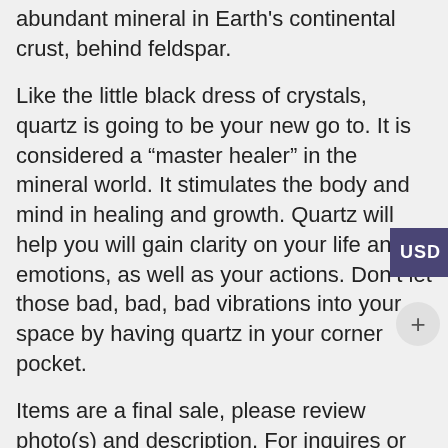abundant mineral in Earth's continental crust, behind feldspar.
Like the little black dress of crystals, quartz is going to be your new go to. It is considered a “master healer” in the mineral world. It stimulates the body and mind in healing and growth. Quartz will help you will gain clarity on your life and emotions, as well as your actions. Don’t let those bad, bad, bad vibrations into your space by having quartz in your corner pocket.
Items are a final sale, please review photo(s) and description. For inquires or questions, please contact prior to purchase. All items for sale on website are single sale items only regardless of units in picture, unless otherwise indicated as a multiple quantity. Measurements are for example only and fluctuate based on each individual piece. As natural products, each item may contain small